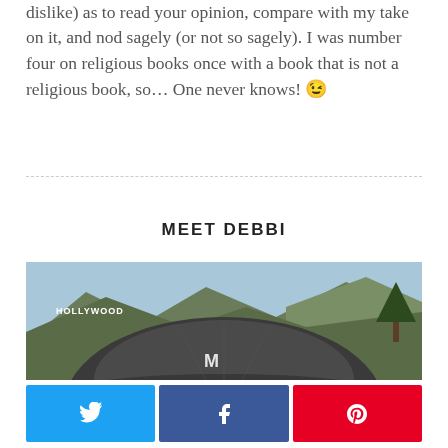dislike) as to read your opinion, compare with my take on it, and nod sagely (or not so sagely). I was number four on religious books once with a book that is not a religious book, so... One never knows! 😉
MEET DEBBI
[Figure (photo): Person wearing a baseball cap with Hollywood sign on hillside in background, blue sky]
[Figure (infographic): Social media share buttons: Twitter (blue), Facebook (dark blue), Pinterest (red)]